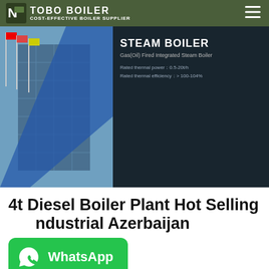TOBO BOILER — COST-EFFECTIVE BOILER SUPPLIER
[Figure (photo): Steam boiler product banner showing industrial boilers with text: STEAM BOILER, Gas(Oil) Fired Integrated Steam Boiler, Rated thermal power: 0.5-20t/h, Rated thermal efficiency: >100-104%]
4t Diesel Boiler Plant Hot Selling Industrial Azerbaijan
[Figure (logo): WhatsApp contact button with green background and WhatsApp icon]